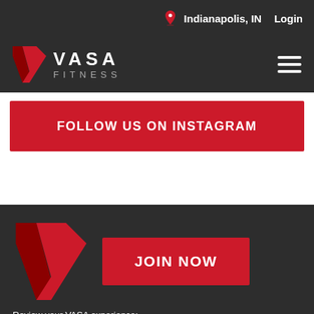Indianapolis, IN   Login
[Figure (logo): VASA Fitness logo with red V chevron mark and white text VASA FITNESS]
FOLLOW US ON INSTAGRAM
[Figure (logo): Large red V chevron mark in footer]
JOIN NOW
Review your VASA experience: